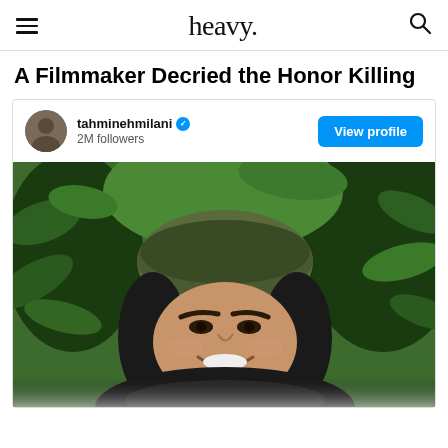heavy.
A Filmmaker Decried the Honor Killing
[Figure (screenshot): Instagram post from tahminehmilani (verified, 2M followers) showing a smiling young woman wearing a beige/olive knit winter hat and black fur-trimmed jacket, surrounded by green tropical leaves. A 'View profile' button appears in the top-right of the card.]